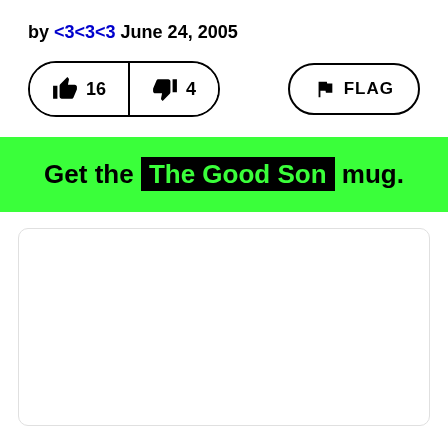by <3<3<3 June 24, 2005
[Figure (infographic): Thumbs up button with count 16, thumbs down button with count 4, and a FLAG button on the right]
Get the The Good Son mug.
[Figure (other): White card/box with rounded border at the bottom of the page]